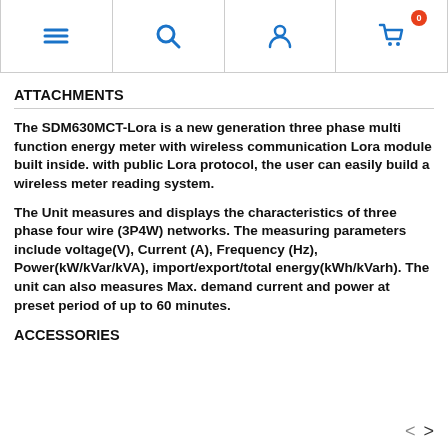[Navigation bar with menu, search, account, and cart icons]
ATTACHMENTS
The SDM630MCT-Lora is a new generation three phase multi function energy meter with wireless communication Lora module built inside. with public Lora protocol, the user can easily build a wireless meter reading system.
The Unit measures and displays the characteristics of three phase four wire (3P4W) networks. The measuring parameters include voltage(V), Current (A), Frequency (Hz), Power(kW/kVar/kVA), import/export/total energy(kWh/kVarh). The unit can also measures Max. demand current and power at preset period of up to 60 minutes.
ACCESSORIES